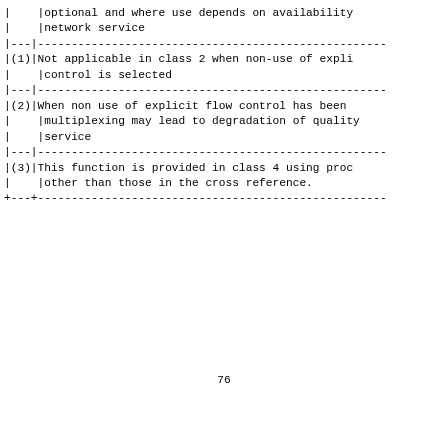|   | optional and where use depends on availability |
|   | network service |
| --- | --- |
| (1) | Not applicable in class 2 when non-use of expli |
|   | control is selected |
| --- | --- |
| (2) | When non use of explicit flow control has been |
|   | multiplexing may lead to degradation of quality |
|   | service |
| --- | --- |
| (3) | This function is provided in class 4 using proc |
|   | other than those in the cross reference. |
| --- | --- |
76